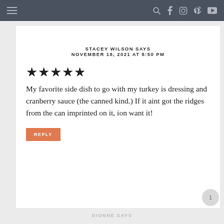≡  🔍 f 📷 𝗣 ▶
STACEY WILSON SAYS
NOVEMBER 18, 2021 AT 8:50 PM
★★★★★
My favorite side dish to go with my turkey is dressing and cranberry sauce (the canned kind.) If it aint got the ridges from the can imprinted on it, ion want it!
REPLY
DIONNE SAYS